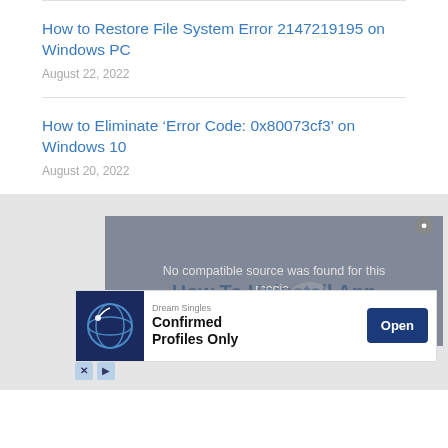How to Restore File System Error 2147219195 on Windows PC
August 22, 2022
How to Eliminate ‘Error Code: 0x80073cf3’ on Windows 10
August 20, 2022
[Figure (screenshot): Video player overlay showing 'No compatible source was found for this media.' message, with an ad for Dream Singles 'Confirmed Profiles Only' and an Open button.]